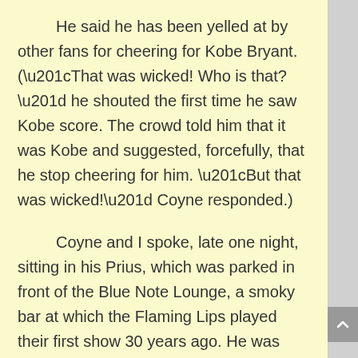He said he has been yelled at by other fans for cheering for Kobe Bryant. (“That was wicked! Who is that?” he shouted the first time he saw Kobe score. The crowd told him that it was Kobe and suggested, forcefully, that he stop cheering for him. “But that was wicked!” Coyne responded.)
Coyne and I spoke, late one night, sitting in his Prius, which was parked in front of the Blue Note Lounge, a smoky bar at which the Flaming Lips played their first show 30 years ago. He was wearing a gray suit (he’d just come from a wedding), and his gray hair poured out in a big curly plume from his head. His fingernails were painted gold, and his face was lightly dusted with